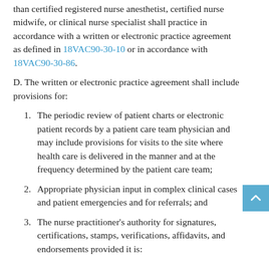than certified registered nurse anesthetist, certified nurse midwife, or clinical nurse specialist shall practice in accordance with a written or electronic practice agreement as defined in 18VAC90-30-10 or in accordance with 18VAC90-30-86.
D. The written or electronic practice agreement shall include provisions for:
1. The periodic review of patient charts or electronic patient records by a patient care team physician and may include provisions for visits to the site where health care is delivered in the manner and at the frequency determined by the patient care team;
2. Appropriate physician input in complex clinical cases and patient emergencies and for referrals; and
3. The nurse practitioner's authority for signatures, certifications, stamps, verifications, affidavits, and endorsements provided it is: